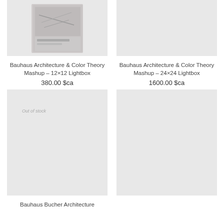[Figure (photo): Product image for Bauhaus Architecture & Color Theory Mashup 12x12 Lightbox - shows a book cover with architectural imagery]
[Figure (photo): Product image for Bauhaus Architecture & Color Theory Mashup 24x24 Lightbox - light gray placeholder]
Bauhaus Architecture & Color Theory Mashup – 12×12 Lightbox
380.00 $ca
Bauhaus Architecture & Color Theory Mashup – 24×24 Lightbox
1600.00 $ca
[Figure (photo): Out of stock product image for Bauhaus Bucher Architecture - light gray placeholder with 'Out of stock' label]
[Figure (photo): Product image placeholder - light gray]
Bauhaus Bucher Architecture